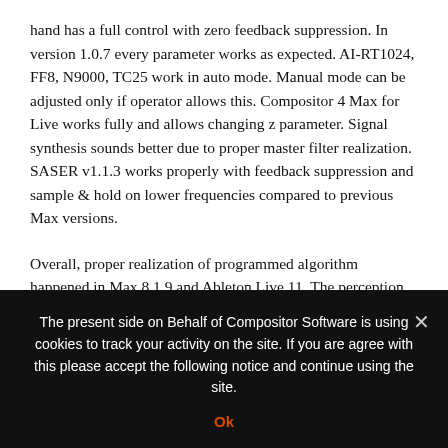hand has a full control with zero feedback suppression. In version 1.0.7 every parameter works as expected. AI-RT1024, FF8, N9000, TC25 work in auto mode. Manual mode can be adjusted only if operator allows this. Compositor 4 Max for Live works fully and allows changing z parameter. Signal synthesis sounds better due to proper master filter realization. SASER v1.1.3 works properly with feedback suppression and sample & hold on lower frequencies compared to previous Max versions.
Overall, proper realization of programmed algorithm happened in Max 8.1.9 and Ableton Live 11. The perception of time shifts, when SASER sample & holds the signal and you can change the multiplier manually to have an instant change of the sound. It is a breakthrough for ~Gen-based Compositor Software instruments
The present side on Behalf of Compositor Software is using cookies to track your activity on the site. If you are agree with this please accept the following notice and continue using the site.
Ok